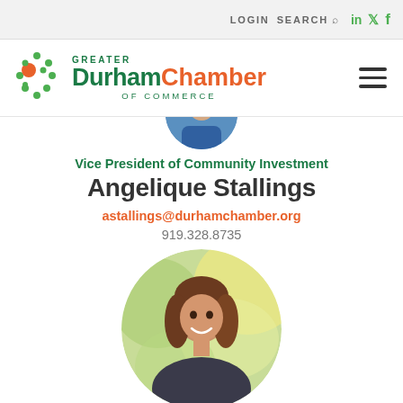LOGIN  SEARCH  [social icons: LinkedIn, Twitter, Facebook]
[Figure (logo): Greater Durham Chamber of Commerce logo with colored dots and text]
[Figure (photo): Partial circular headshot photo at top of profile]
Vice President of Community Investment
Angelique Stallings
astallings@durhamchamber.org
919.328.8735
[Figure (photo): Circular portrait photo of Angelique Stallings, a smiling woman with long brown hair, outdoors with green bokeh background]